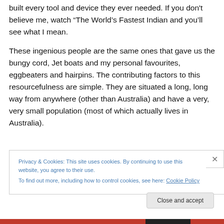built every tool and device they ever needed. If you don't believe me, watch "The World's Fastest Indian and you'll see what I mean.
These ingenious people are the same ones that gave us the bungy cord, Jet boats and my personal favourites, eggbeaters and hairpins. The contributing factors to this resourcefulness are simple. They are situated a long, long way from anywhere (other than Australia) and have a very, very small population (most of which actually lives in Australia).
Privacy & Cookies: This site uses cookies. By continuing to use this website, you agree to their use. To find out more, including how to control cookies, see here: Cookie Policy
Close and accept